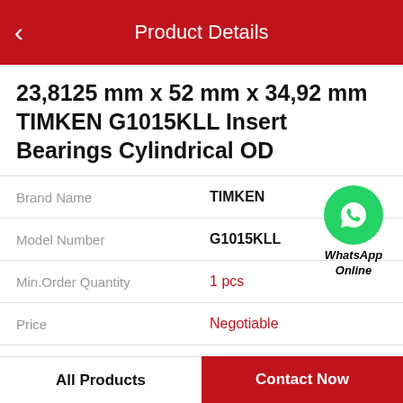Product Details
23,8125 mm x 52 mm x 34,92 mm TIMKEN G1015KLL Insert Bearings Cylindrical OD
| Field | Value |
| --- | --- |
| Brand Name | TIMKEN |
| Model Number | G1015KLL |
| Min.Order Quantity | 1 pcs |
| Price | Negotiable |
[Figure (logo): WhatsApp Online green circle icon with phone handset, labeled WhatsApp Online in italic bold text]
Product Features
All Products   Contact Now